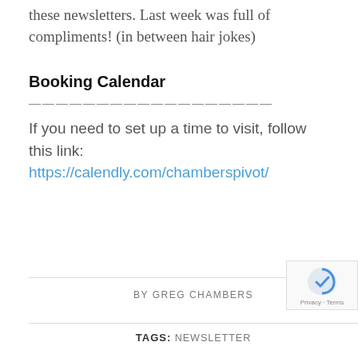these newsletters. Last week was full of compliments! (in between hair jokes)
Booking Calendar
——————————————————
If you need to set up a time to visit, follow this link:
https://calendly.com/chamberspivot/
BY GREG CHAMBERS
TAGS: NEWSLETTER